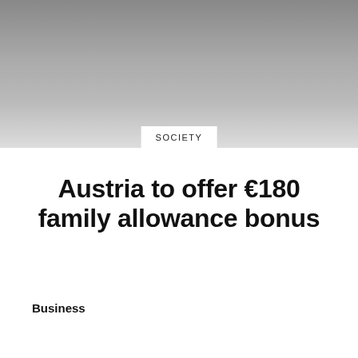[Figure (photo): Grayscale hero image with gradient from dark gray at top to light gray at bottom]
SOCIETY
Austria to offer €180 family allowance bonus
Business